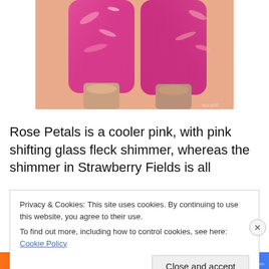[Figure (photo): Close-up photo of two pink shimmer nail polish bottles with glittery finish, held against skin background]
Rose Petals is a cooler pink, with pink shifting glass fleck shimmer, whereas the shimmer in Strawberry Fields is all
Privacy & Cookies: This site uses cookies. By continuing to use this website, you agree to their use.
To find out more, including how to control cookies, see here: Cookie Policy
[Figure (screenshot): Colorful gradient banner at the bottom of the page]